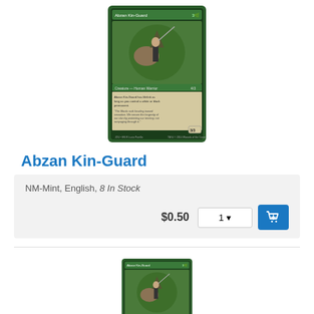[Figure (illustration): Magic: The Gathering card art for Abzan Kin-Guard showing a warrior riding a creature with green border and card text]
Abzan Kin-Guard
NM-Mint, English, 8 In Stock
$0.50
[Figure (illustration): Second Magic: The Gathering card art for Abzan Kin-Guard, partially cropped at bottom of page]